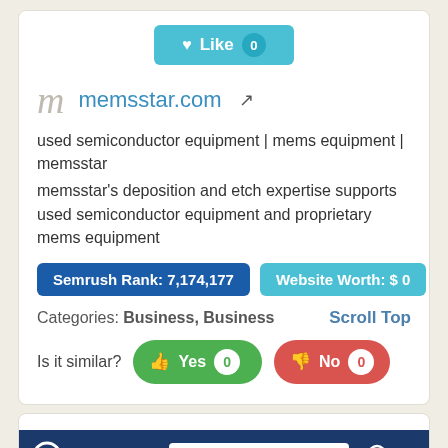[Figure (screenshot): Like button with heart icon and count 0, teal/cyan background]
m  memsstar.com [external link icon]
used semiconductor equipment | mems equipment | memsstar
memsstar's deposition and etch expertise supports used semiconductor equipment and proprietary mems equipment
Semrush Rank: 7,174,177
Website Worth: $ 0
Categories: Business, Business
Scroll Top
Is it similar?
Yes 0
No 0
[Figure (screenshot): Orbotech website header bar with logo, search input box, dark navy background]